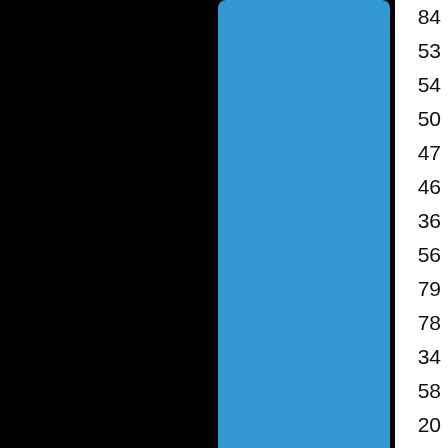[Figure (illustration): Blue card/panel on left side of page]
| # | Name |
| --- | --- |
| 84 | DelBene, Nic… |
| 53 | Galowitz, Etha… |
| 54 | Gerrish, James… |
| 50 | Giglio, Grant |
| 47 | Gluck, Steven |
| 46 | Hernandez, Ga… |
| 36 | Horan, Jack |
| 56 | Reisman, Ben |
| 79 | Sessa, Joey |
| 78 | Shea, Colin |
| 34 | Sherman, Jeffr… |
| 58 | Sheth, Nehan |
| 20 | Wolfe, Connor… |
[Figure (logo): SportsEngine / Moonlight Lacrosse logo in dark footer bar]
© 2022 SportsEngine, Inc. The Home of Youth Sports and Moonlight Lacrosse (4… Server 4 : 1-87 in 0.65s. // Privacy Policy // Do Not Sell My Personal Infor…